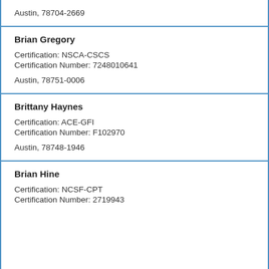Austin, 78704-2669
Brian Gregory
Certification: NSCA-CSCS
Certification Number: 7248010641
Austin, 78751-0006
Brittany Haynes
Certification: ACE-GFI
Certification Number: F102970
Austin, 78748-1946
Brian Hine
Certification: NCSF-CPT
Certification Number: 2719943